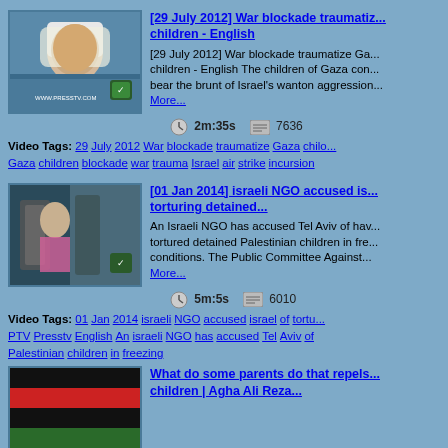[Figure (photo): Video thumbnail showing a woman in white headscarf, appears to be injured or distressed, with www.presstv.com watermark]
[29 July 2012] War blockade traumatize Gaza children - English
[29 July 2012] War blockade traumatize Gaza children - English The children of Gaza continue to bear the brunt of Israel's wanton aggression... More...
2m:35s   7636
Video Tags: 29 July 2012 War blockade traumatize Gaza chilo Gaza children blockade war trauma Israel air strike incursion
[Figure (photo): Video thumbnail showing people in a street scene, soldiers visible, person in pink]
[01 Jan 2014] israeli NGO accused is torturing detained...
An Israeli NGO has accused Tel Aviv of having tortured detained Palestinian children in freezing conditions. The Public Committee Against... More...
5m:5s   6010
Video Tags: 01 Jan 2014 israeli NGO accused israel of torturing PTV Presstv English An israeli NGO has accused Tel Aviv of Palestinian children in freezing
[Figure (photo): Video thumbnail showing what appears to be a flag with black, red, and green colors]
What do some parents do that repels children | Agha Ali Reza...